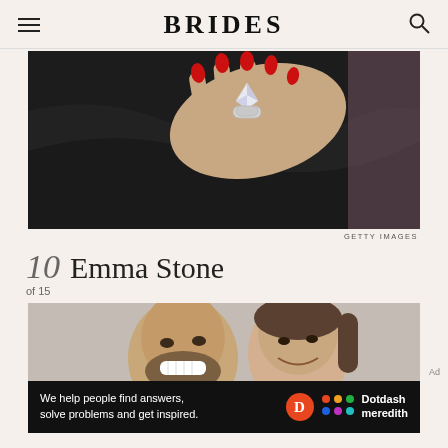BRIDES
[Figure (photo): Close-up of a hand with long red nails wearing a large diamond engagement ring against a black fabric background]
GETTY IMAGES
10 Emma Stone
of 15
[Figure (photo): Two people smiling closely together, a man with beard and a woman with dark hair]
[Figure (infographic): Dotdash Meredith advertisement banner: We help people find answers, solve problems and get inspired.]